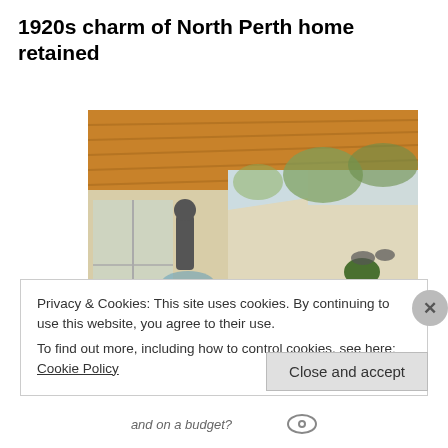1920s charm of North Perth home retained
[Figure (photo): Outdoor patio/alfresco area of a North Perth home with wooden ceiling, rattan furniture, potted plants, and a view to a garden and pool beyond white walls.]
Privacy & Cookies: This site uses cookies. By continuing to use this website, you agree to their use.
To find out more, including how to control cookies, see here: Cookie Policy
and on a budget?